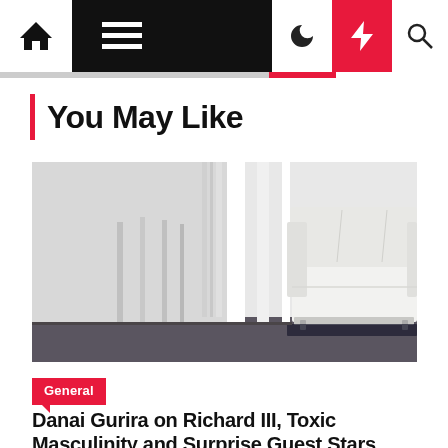Navigation bar with home, menu, moon, bolt, and search icons
You May Like
[Figure (photo): White tufted sofa/couch against a white wall with white curtains and dark flooring]
General
Danai Gurira on Richard III, Toxic Masculinity and Surprise Guest Stars